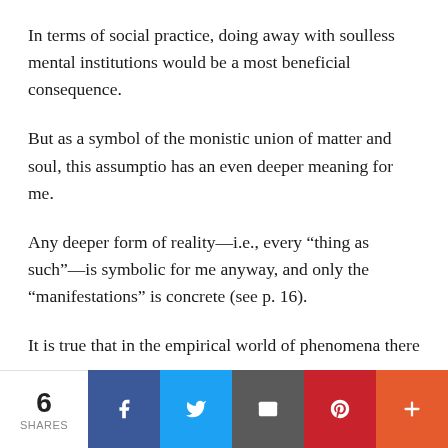In terms of social practice, doing away with soulless mental institutions would be a most beneficial consequence.
But as a symbol of the monistic union of matter and soul, this assumptio has an even deeper meaning for me.
Any deeper form of reality—i.e., every “thing as such”—is symbolic for me anyway, and only the “manifestations” is concrete (see p. 16).
It is true that in the empirical world of phenomena there must always be the difference between “physical” and–